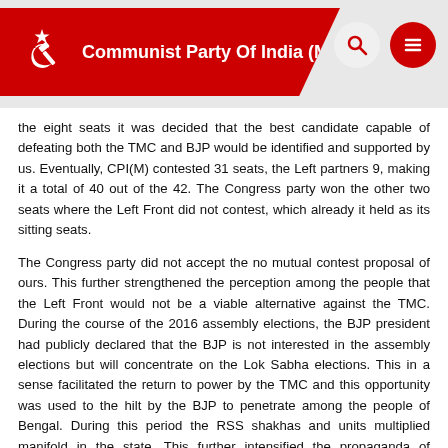Communist Party Of India (Marxist)
the eight seats it was decided that the best candidate capable of defeating both the TMC and BJP would be identified and supported by us. Eventually, CPI(M) contested 31 seats, the Left partners 9, making it a total of 40 out of the 42. The Congress party won the other two seats where the Left Front did not contest, which already it held as its sitting seats.
The Congress party did not accept the no mutual contest proposal of ours. This further strengthened the perception among the people that the Left Front would not be a viable alternative against the TMC. During the course of the 2016 assembly elections, the BJP president had publicly declared that the BJP is not interested in the assembly elections but will concentrate on the Lok Sabha elections. This in a sense facilitated the return to power by the TMC and this opportunity was used to the hilt by the BJP to penetrate among the people of Bengal. During this period the RSS shakhas and units multiplied manifold in the state. This further intensified the propaganda of communal polarization which the BJP had been undertaking in the state for some years now.